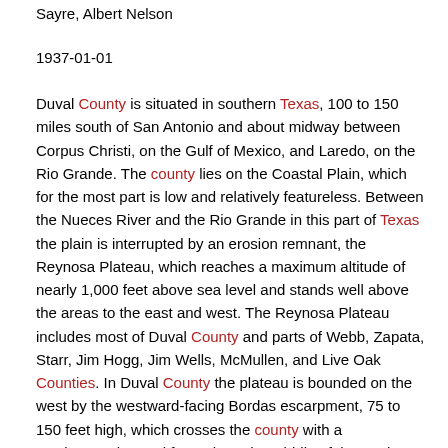Sayre, Albert Nelson
1937-01-01
Duval County is situated in southern Texas, 100 to 150 miles south of San Antonio and about midway between Corpus Christi, on the Gulf of Mexico, and Laredo, on the Rio Grande. The county lies on the Coastal Plain, which for the most part is low and relatively featureless. Between the Nueces River and the Rio Grande in this part of Texas the plain is interrupted by an erosion remnant, the Reynosa Plateau, which reaches a maximum altitude of nearly 1,000 feet above sea level and stands well above the areas to the east and west. The Reynosa Plateau includes most of Duval County and parts of Webb, Zapata, Starr, Jim Hogg, Jim Wells, McMullen, and Live Oak Counties. In Duval County the plateau is bounded on the west by the westward-facing Bordas escarpment, 75 to 150 feet high, which crosses the county with a southwesterly trend from about the middle of the north boundary to about the middle of the west boundary. On the east the plateau is bounded by a low seaward-facing escarpment, which passes through San Diego, trending a little west of south.